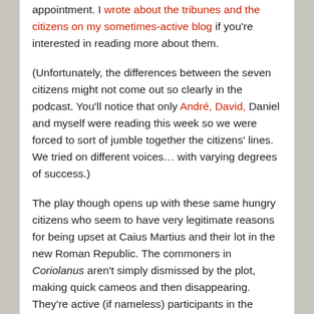appointment. I wrote about the tribunes and the citizens on my sometimes-active blog if you're interested in reading more about them.
(Unfortunately, the differences between the seven citizens might not come out so clearly in the podcast. You'll notice that only André, David, Daniel and myself were reading this week so we were forced to sort of jumble together the citizens' lines. We tried on different voices… with varying degrees of success.)
The play though opens up with these same hungry citizens who seem to have very legitimate reasons for being upset at Caius Martius and their lot in the new Roman Republic. The commoners in Coriolanus aren't simply dismissed by the plot, making quick cameos and then disappearing. They're active (if nameless) participants in the unfolding drama. They quite literally take center stage opposite to Coriolanus throughout the play, as a group and as individuals.